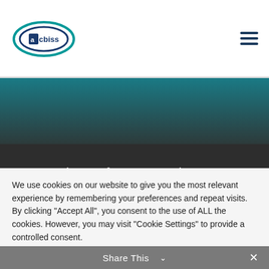[Figure (logo): acbiss company logo — oval shape with teal and dark blue colors, text 'acbiss' inside]
[Figure (other): Hamburger menu icon — three horizontal dark navy lines]
[Figure (other): Teal to dark gradient banner background]
Sign up for our newsletter!
[Figure (other): White rounded input field with placeholder text 'First Name *']
We use cookies on our website to give you the most relevant experience by remembering your preferences and repeat visits. By clicking “Accept All”, you consent to the use of ALL the cookies. However, you may visit "Cookie Settings" to provide a controlled consent.
Cookie Settings
Accept All
Share This  ∨  ×